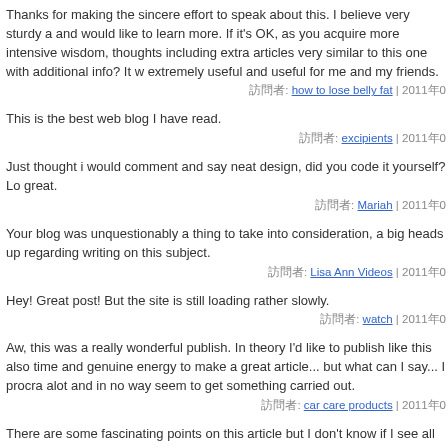Thanks for making the sincere effort to speak about this. I believe very sturdy a and would like to learn more. If it's OK, as you acquire more intensive wisdom, thoughts including extra articles very similar to this one with additional info? It w extremely useful and useful for me and my friends.
訪問者: how to lose belly fat | 2011年0
This is the best web blog I have read.
訪問者: excipients | 2011年0
Just thought i would comment and say neat design, did you code it yourself? Lo great.
訪問者: Mariah | 2011年0
Your blog was unquestionably a thing to take into consideration, a big heads up regarding writing on this subject.
訪問者: Lisa Ann Videos | 2011年0
Hey! Great post! But the site is still loading rather slowly.
訪問者: watch | 2011年0
Aw, this was a really wonderful publish. In theory I'd like to publish like this also time and genuine energy to make a great article... but what can I say... I procra alot and in no way seem to get something carried out.
訪問者: car care products | 2011年0
There are some fascinating points on this article but I don't know if I see all of th heart to heart. There is some validity but I will take hold an opinion till I look into